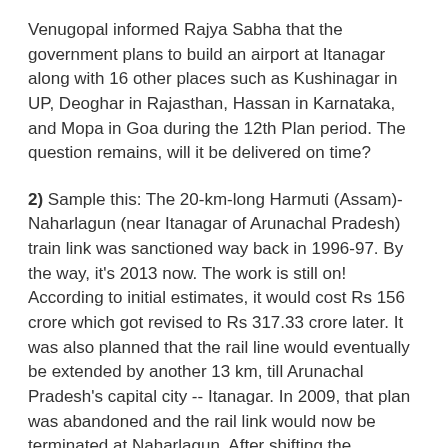Venugopal informed Rajya Sabha that the government plans to build an airport at Itanagar along with 16 other places such as Kushinagar in UP, Deoghar in Rajasthan, Hassan in Karnataka, and Mopa in Goa during the 12th Plan period. The question remains, will it be delivered on time?
2) Sample this: The 20-km-long Harmuti (Assam)-Naharlagun (near Itanagar of Arunachal Pradesh) train link was sanctioned way back in 1996-97. By the way, it's 2013 now. The work is still on! According to initial estimates, it would cost Rs 156 crore which got revised to Rs 317.33 crore later. It was also planned that the rail line would eventually be extended by another 13 km, till Arunachal Pradesh's capital city -- Itanagar. In 2009, that plan was abandoned and the rail link would now be terminated at Naharlagun. After shifting the deadline several times, the current deadline for completing this meagre 20-km-long rail link is March 2014!
3) For years, New Delhi was not doing much for building infrastructure in Arunachal Pradesh, the unwritten reason being China's possible objection to it. Thus, the common